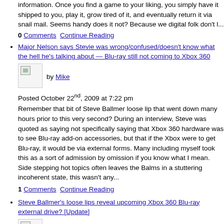information. Once you find a game to your liking, you simply have it shipped to you, play it, grow tired of it, and eventually return it via snail mail. Seems handy does it not? Because we digital folk don't l...
0 Comments  Continue Reading
Major Nelson says Stevie was wrong/confused/doesn't know what the hell he's talking about — Blu-ray still not coming to Xbox 360
[Figure (photo): Small thumbnail image placeholder]
by Mike
Posted October 22nd, 2009 at 7:22 pm
Remember that bit of Steve Ballmer loose lip that went down many hours prior to this very second? During an interview, Steve was quoted as saying not specifically saying that Xbox 360 hardware was to see Blu-ray add-on accessories, but that if the Xbox were to get Blu-ray, it would be via external forms. Many including myself took this as a sort of admission by omission if you know what I mean. Side stepping hot topics often leaves the Balms in a stuttering incoherent state, this wasn't any...
1 Comments  Continue Reading
Steve Ballmer's loose lips reveal upcoming Xbox 360 Blu-ray external drive? [Update]
[Figure (photo): Small thumbnail image placeholder]
by Mike